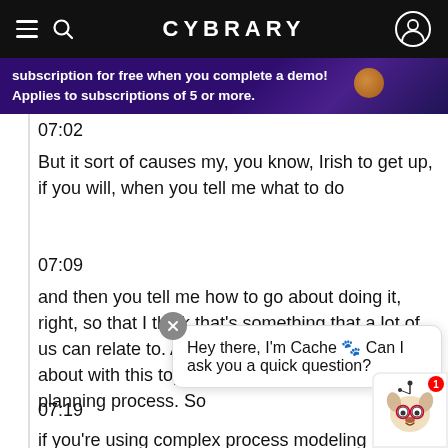CYBRARY
subscription for free when you complete a demo! Applies to subscriptions of 5 or more.
07:02
But it sort of causes my, you know, Irish to get up, if you will, when you tell me what to do
07:09
and then you tell me how to go about doing it, right, so that I think that's something that a lot of us can relate to. And that's kind of what I'm talking about with this top down versus bottom of planning process. So
07:19
if you're using complex process modeling if
Hey there, I'm Cache 🐾 Can I ask you a quick question?